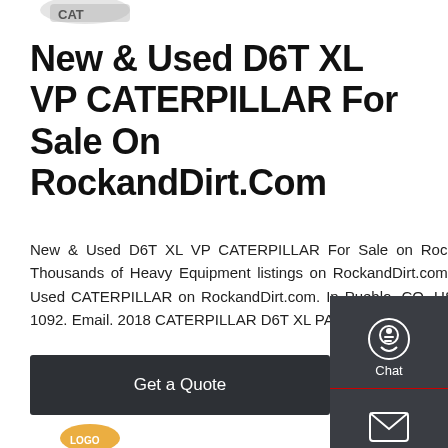[Figure (logo): Partial logo image at top of page]
New & Used D6T XL VP CATERPILLAR For Sale On RockandDirt.Com
New & Used D6T XL VP CATERPILLAR For Sale on RockandDirt.com. Thousands of Heavy Equipment listings on RockandDirt.com Find New or Used CATERPILLAR on RockandDirt.com. In Pueblo, CO, US +1 888 261 1092. Email. 2018 CATERPILLAR D6T XL PAT. $277,000
[Figure (infographic): Right sidebar with Chat, Email, and Contact icons on dark background]
Get a Quote
[Figure (logo): Partial logo image at bottom of page]